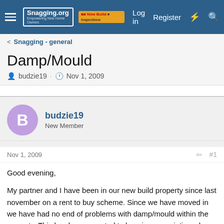Snagging.org — New Build Inspections | Log in | Register
Snagging - general
Damp/Mould
budzie19 · Nov 1, 2009
budzie19
New Member
Nov 1, 2009  #1
Good evening,

My partner and I have been in our new build property since last november on a rent to buy scheme. Since we have moved in we have had no end of problems with damp/mould within the property. This has been reported to housing association who are the landlords, and in turn get on to Barretts to come and look at